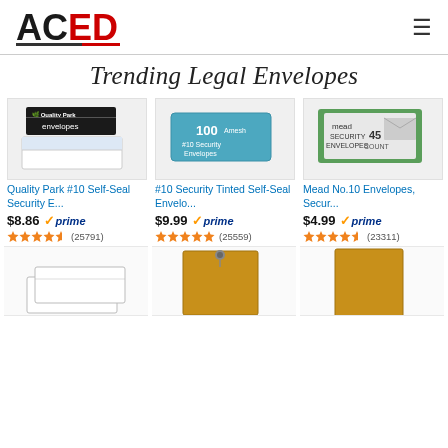ACED PRODUCTS
Trending Legal Envelopes
[Figure (photo): Quality Park envelope box product image]
Quality Park #10 Self-Seal Security E...
$8.86 prime (25791)
[Figure (photo): Amesh 100 #10 Security Tinted Self-Seal envelope box product image]
#10 Security Tinted Self-Seal Envelo...
$9.99 prime (25559)
[Figure (photo): Mead No.10 Security Envelopes 45 count box product image]
Mead No.10 Envelopes, Secur...
$4.99 prime (23311)
[Figure (photo): White envelopes product image (bottom row, left)]
[Figure (photo): Kraft clasp envelope product image (bottom row, center)]
[Figure (photo): Kraft large envelope product image (bottom row, right)]